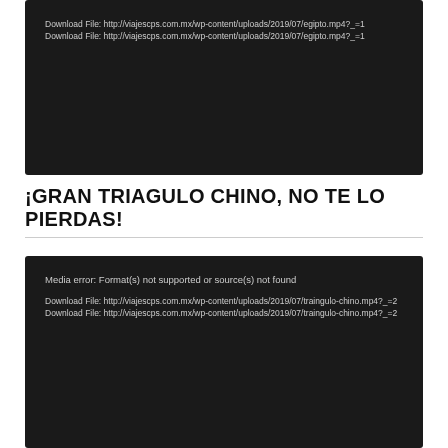[Figure (screenshot): Dark media player error box showing two download file links for egipto.mp4?_=1]
¡GRAN TRIAGULO CHINO, NO TE LO PIERDAS!
[Figure (screenshot): Dark media player error box showing 'Media error: Format(s) not supported or source(s) not found' and two download file links for traingulo-chino.mp4?_=2]